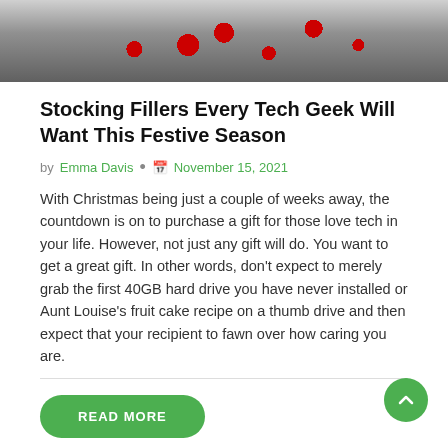[Figure (photo): Hero image showing Christmas-themed tech gifts including a game controller, red ornament balls, and a camera on a white background.]
Stocking Fillers Every Tech Geek Will Want This Festive Season
by Emma Davis • November 15, 2021
With Christmas being just a couple of weeks away, the countdown is on to purchase a gift for those love tech in your life. However, not just any gift will do. You want to get a great gift. In other words, don't expect to merely grab the first 40GB hard drive you have never installed or Aunt Louise's fruit cake recipe on a thumb drive and then expect that your recipient to fawn over how caring you are.
READ MORE